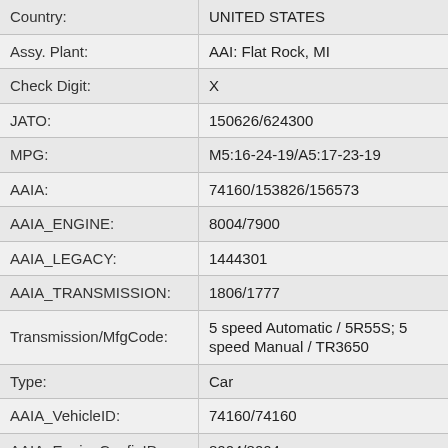| Field | Value |
| --- | --- |
| Country: | UNITED STATES |
| Assy. Plant: | AAI: Flat Rock, MI |
| Check Digit: | X |
| JATO: | 150626/624300 |
| MPG: | M5:16-24-19/A5:17-23-19 |
| AAIA: | 74160/153826/156573 |
| AAIA_ENGINE: | 8004/7900 |
| AAIA_LEGACY: | 1444301 |
| AAIA_TRANSMISSION: | 1806/1777 |
| Transmission/MfgCode: | 5 speed Automatic / 5R55S; 5 speed Manual / TR3650 |
| Type: | Car |
| AAIA_VehicleID: | 74160/74160 |
| AAIA_EngineConfigID: | 8004/8004 |